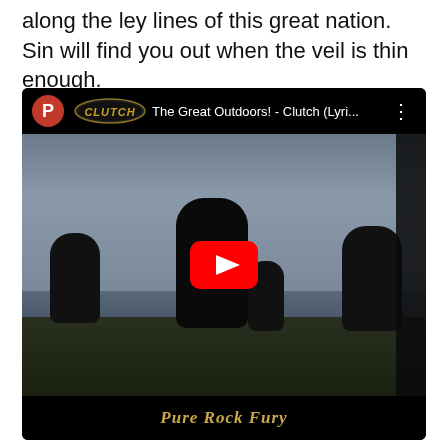along the ley lines of this great nation. Sin will find you out when the veil is thin enough.
[Figure (screenshot): Embedded YouTube video player showing a Clutch band lyric video titled 'The Great Outdoors! - Clutch (Lyri...' with a black and white photo of band members standing in a field with dramatic sky, a red YouTube play button overlay, and 'Pure Rock Fury' text at the bottom in gold Gothic font. The top bar shows a red 'P' avatar icon, the Clutch logo, video title, and three-dot menu.]